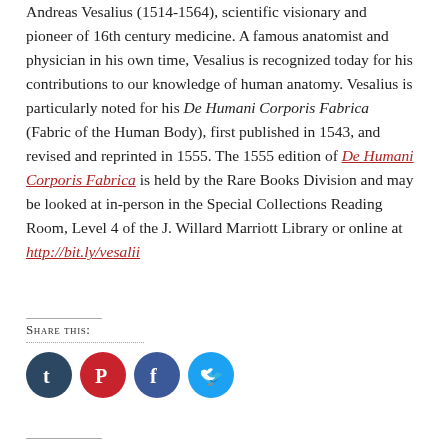Andreas Vesalius (1514-1564), scientific visionary and pioneer of 16th century medicine. A famous anatomist and physician in his own time, Vesalius is recognized today for his contributions to our knowledge of human anatomy. Vesalius is particularly noted for his De Humani Corporis Fabrica (Fabric of the Human Body), first published in 1543, and revised and reprinted in 1555. The 1555 edition of De Humani Corporis Fabrica is held by the Rare Books Division and may be looked at in-person in the Special Collections Reading Room, Level 4 of the J. Willard Marriott Library or online at http://bit.ly/vesalii
Share this: